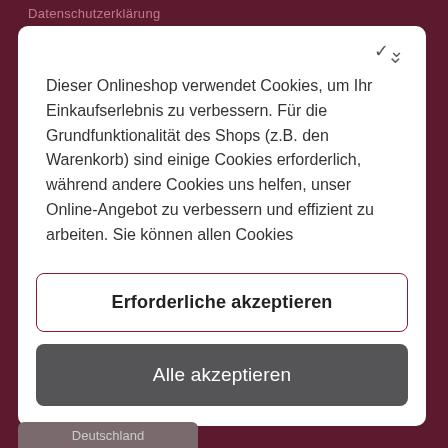Datenschutzerklärung
Dieser Onlineshop verwendet Cookies, um Ihr Einkaufserlebnis zu verbessern. Für die Grundfunktionalität des Shops (z.B. den Warenkorb) sind einige Cookies erforderlich, während andere Cookies uns helfen, unser Online-Angebot zu verbessern und effizient zu arbeiten. Sie können allen Cookies
Erforderliche akzeptieren
Alle akzeptieren
Deutschland